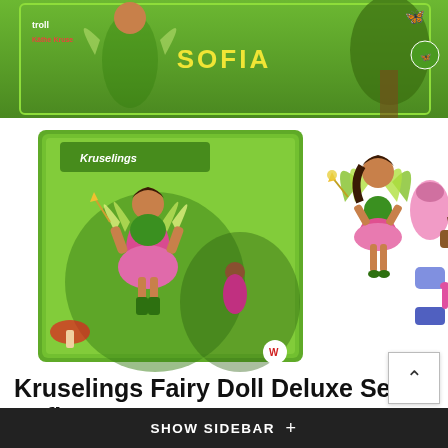[Figure (photo): Top portion of a green Kruselings Sofia fairy doll product box showing the character running with green boots. Yellow 'SOFIA' text visible on box. Butterfly icon and product info on right side.]
[Figure (photo): Left: Kruselings fairy doll green product box showing the Sofia doll with fairy wings on the front. Right: Sofia fairy doll figure standing with wings and accessories including dresses and a wand.]
Kruselings Fairy Doll Deluxe Set - Sofia
Kruselings
Luna, Vera, Sofia, Joy and Chloe are the Kruselings- the guardians of the Dreamland! Their job is to fight nightmares and spread sweet dreams to all! Created by Kathe Kruse in cinjunction with renowned doll maker Sonja Hartmann, these adorable friends are superb in quality and style. Sofia comes from...
SHOW SIDEBAR +